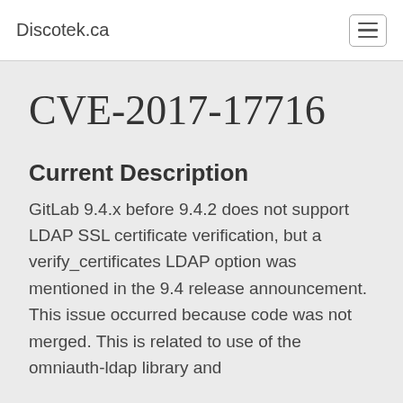Discotek.ca
CVE-2017-17716
Current Description
GitLab 9.4.x before 9.4.2 does not support LDAP SSL certificate verification, but a verify_certificates LDAP option was mentioned in the 9.4 release announcement. This issue occurred because code was not merged. This is related to use of the omniauth-ldap library and